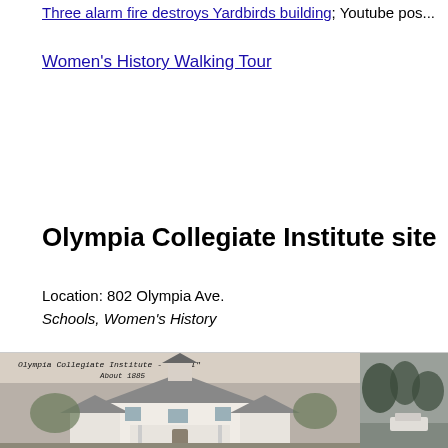Three alarm fire destroys Yardbirds building; Youtube pos...
Women's History Walking Tour
Olympia Collegiate Institute site
Location: 802 Olympia Ave.
Schools, Women's History
[Figure (photo): Black and white historical photo of the Olympia Collegiate Institute building (O.C.I.), circa 1885, showing a Victorian-style house with a bell tower, handwritten label at top. Partially visible photo of a parking lot with trees to the right.]